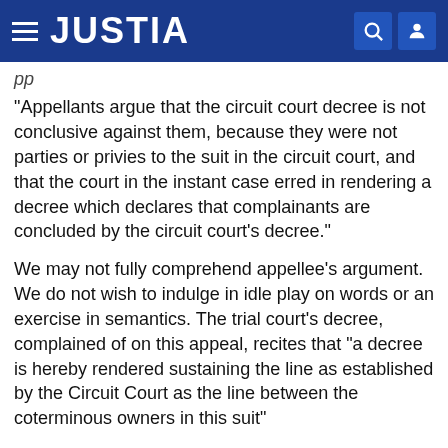JUSTIA
Appellants argue that the circuit court decree is not conclusive against them, because they were not parties or privies to the suit in the circuit court, and that the court in the instant case erred in rendering a decree which declares that complainants are concluded by the circuit court's decree.
We may not fully comprehend appellee's argument. We do not wish to indulge in idle play on words or an exercise in semantics. The trial court's decree, complained of on this appeal, recites that "a decree is hereby rendered sustaining the line as established by the Circuit Court as the line between the coterminous owners in this suit"
*294 If we understand the meaning of the quoted language, the decree just quoted from sustains the